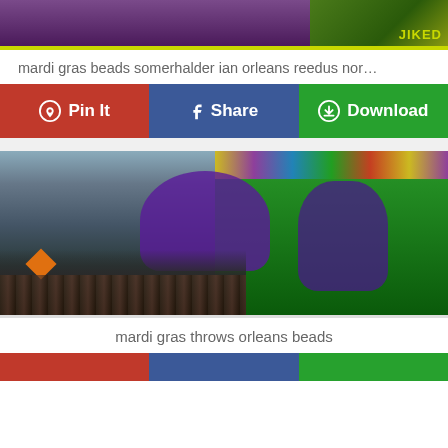[Figure (photo): Top portion of a mardi gras themed image with purple and green sections, partially cropped]
mardi gras beads somerhalder ian orleans reedus nor…
[Figure (infographic): Three social sharing buttons: Pin It (red), Share (blue), Download (green)]
[Figure (photo): Mardi gras parade scene with costumed performers in purple and green throwing beads to crowd on street]
mardi gras throws orleans beads
[Figure (infographic): Three social sharing buttons partially visible at bottom: Pin It (red), Share (blue), Download (green)]